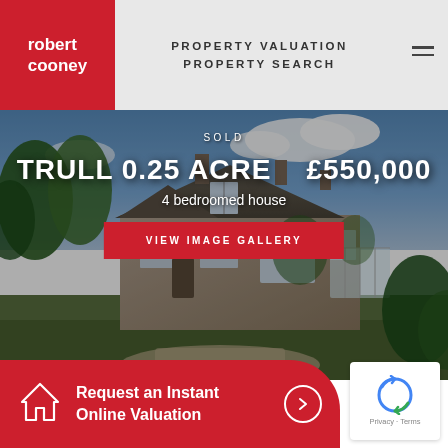[Figure (logo): Robert Cooney logo — white text on red background, bottom-left of navbar]
PROPERTY VALUATION
PROPERTY SEARCH
[Figure (photo): Photograph of a stone cottage with garden, blue sky, trees and gravel path. Overlaid text: SOLD, TRULL 0.25 ACRE £550,000, 4 bedroomed house, VIEW IMAGE GALLERY button]
SOLD
TRULL 0.25 ACRE    £550,000
4 bedroomed house
VIEW IMAGE GALLERY
Request an Instant Online Valuation
[Figure (other): Google reCAPTCHA widget with Privacy and Terms links]